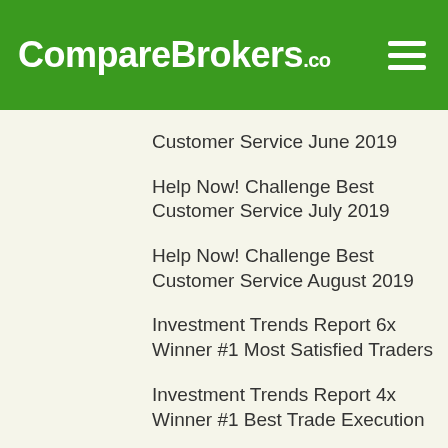CompareBrokers.co
Customer Service June 2019
Help Now! Challenge Best Customer Service July 2019
Help Now! Challenge Best Customer Service August 2019
Investment Trends Report 6x Winner #1 Most Satisfied Traders
Investment Trends Report 4x Winner #1 Best Trade Execution
Investment Trends Report 2x Winner #1 Best Education Material